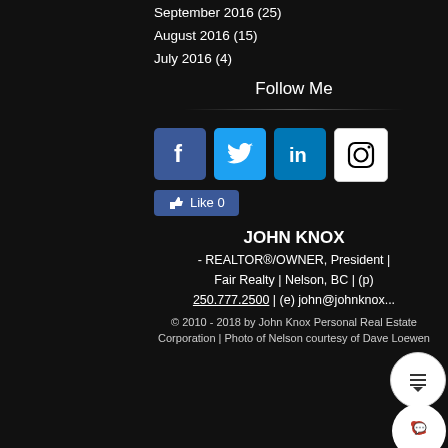September 2016 (25)
August 2016 (15)
July 2016 (4)
Follow Me
[Figure (infographic): Social media icons: Facebook, Twitter, LinkedIn, Instagram, and a Facebook Like button showing 0 likes]
JOHN KNOX
- REALTOR®/OWNER, President | Fair Realty | Nelson, BC | (p) 250.777.2500 | (e) john@johnknox...
© 2010 - 2018 by John Knox Personal Real Estate Corporation  | Photo of Nelson courtesy of Dave Loewen